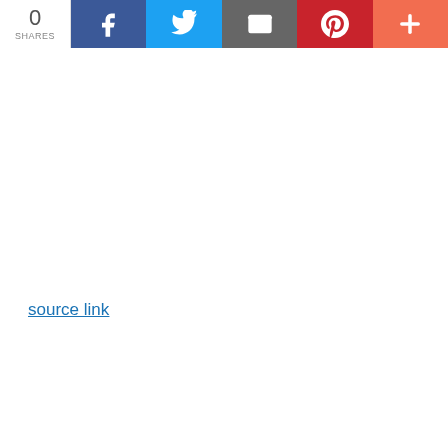[Figure (infographic): Social share bar with share count (0 SHARES), Facebook, Twitter, Email, Pinterest, and More (+) buttons]
source link